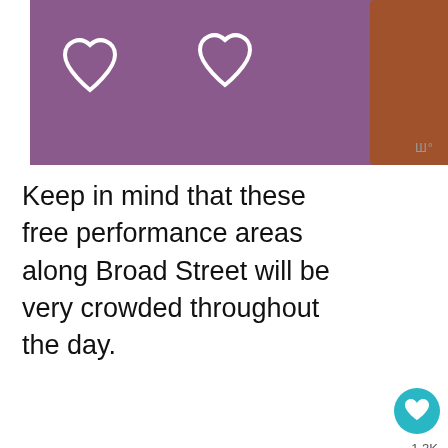[Figure (photo): A dog wearing a teal collar against a purple background with white heart outlines]
Keep in mind that these free performance areas along Broad Street will be very crowded throughout the day.
Can I watch the Mummers Parade on TV or can I stream it online?
[Figure (photo): Street scene photo, partially visible]
[Figure (screenshot): PUMA ad banner: Ultra & Future Soccer with SHOP NOW button]